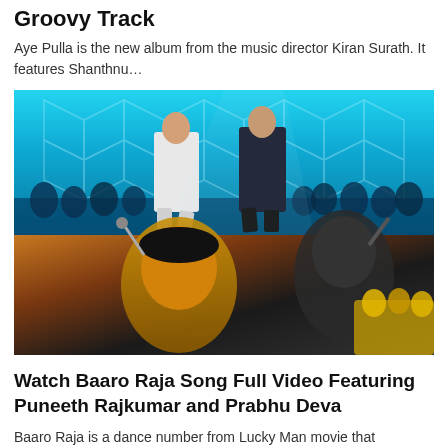Groovy Track
Aye Pulla is the new album from the music director Kiran Surath. It features Shanthnu…
[Figure (photo): Two performers on a stage with blue geometric LED background and a crowd of dancers behind them. Top image shows a man in white outfit and a man in black outfit dancing. Bottom image shows a close-up of a performer singing with crowd in yellow outfits in background.]
Watch Baaro Raja Song Full Video Featuring Puneeth Rajkumar and Prabhu Deva
Baaro Raja is a dance number from Lucky Man movie that